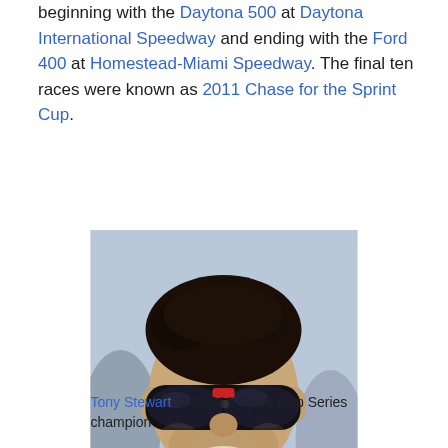beginning with the Daytona 500 at Daytona International Speedway and ending with the Ford 400 at Homestead-Miami Speedway. The final ten races were known as 2011 Chase for the Sprint Cup.
[Figure (photo): Portrait photo of Tony Stewart wearing sunglasses and a black racing jacket with orange trim, smiling.]
Tony Stewart, the 2011 Sprint Cup Series champion